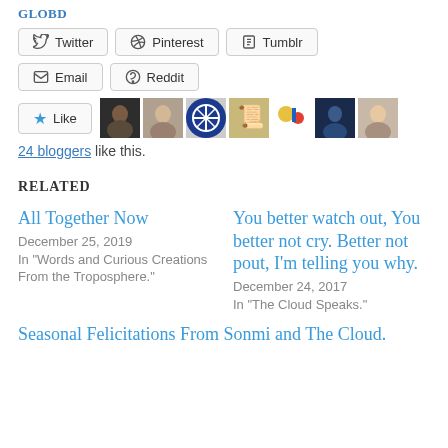GLOBD
Twitter  Pinterest  Tumblr  Email  Reddit
Like  [avatars]
24 bloggers like this.
Related
All Together Now
December 25, 2019
In "Words and Curious Creations From the Troposphere."
You better watch out, You better not cry. Better not pout, I'm telling you why.
December 24, 2017
In "The Cloud Speaks."
Seasonal Felicitations From Sonmi and The Cloud.